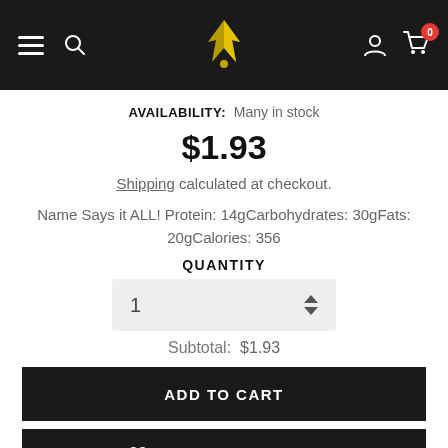Navigation bar with hamburger menu, search, logo, user icon, and cart (0)
AVAILABILITY: Many in stock
$1.93
Shipping calculated at checkout.
Name Says it ALL! Protein: 14gCarbohydrates: 30gFats: 20gCalories: 356
QUANTITY
1
Subtotal:  $1.93
ADD TO CART
ADD TO WISH LIST
BUY IT NOW